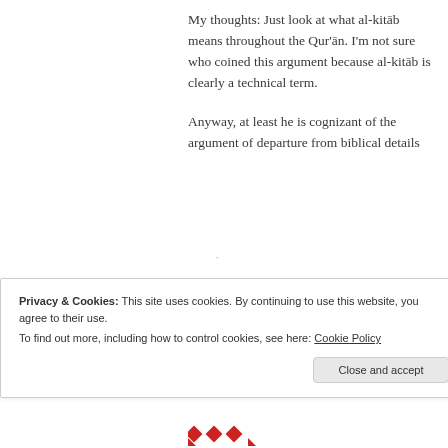My thoughts: Just look at what al-kitāb means throughout the Qur'ān. I'm not sure who coined this argument because al-kitāb is clearly a technical term.

Anyway, at least he is cognizant of the argument of departure from biblical details
Privacy & Cookies: This site uses cookies. By continuing to use this website, you agree to their use.
To find out more, including how to control cookies, see here: Cookie Policy
Close and accept